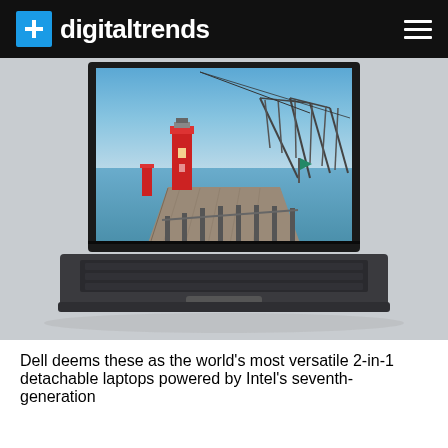digitaltrends
[Figure (photo): A Dell detachable 2-in-1 laptop displaying a photo of a red lighthouse and pier on a blue-sky day. The keyboard base is shown detached below the screen.]
Dell deems these as the world's most versatile 2-in-1 detachable laptops powered by Intel's seventh-generation